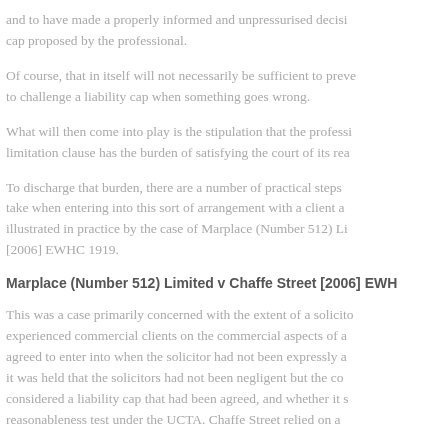and to have made a properly informed and unpressurised decision on the liability cap proposed by the professional.
Of course, that in itself will not necessarily be sufficient to prevent a client seeking to challenge a liability cap when something goes wrong.
What will then come into play is the stipulation that the professional relying on a limitation clause has the burden of satisfying the court of its reasonableness.
To discharge that burden, there are a number of practical steps that a professional should take when entering into this sort of arrangement with a client and these are well illustrated in practice by the case of Marplace (Number 512) Limited v Chaffe Street [2006] EWHC 1919.
Marplace (Number 512) Limited v Chaffe Street [2006] EWHC
This was a case primarily concerned with the extent of a solicitor's duty to advise experienced commercial clients on the commercial aspects of a transaction they had agreed to enter into when the solicitor had not been expressly asked to do so. Ultimately it was held that the solicitors had not been negligent but the court nevertheless considered a liability cap that had been agreed, and whether it satisfied the reasonableness test under the UCTA. Chaffe Street relied on a